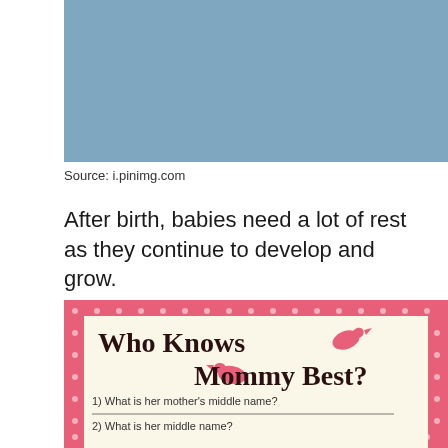[Figure (photo): Blue/grey colored rectangular image placeholder at the top of the page]
Source: i.pinimg.com
After birth, babies need a lot of rest as they continue to develop and grow.
[Figure (illustration): Baby shower game card with pink polka-dot border and cream inner card. Title reads 'Who Knows Mommy Best?' with bird illustrations. Questions: 1) What is her mother's middle name? 2) What is her middle name?]